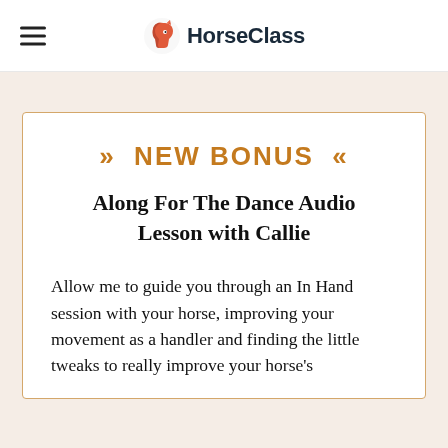HorseClass
>> NEW BONUS <<
Along For The Dance Audio Lesson with Callie
Allow me to guide you through an In Hand session with your horse, improving your movement as a handler and finding the little tweaks to really improve your horse's